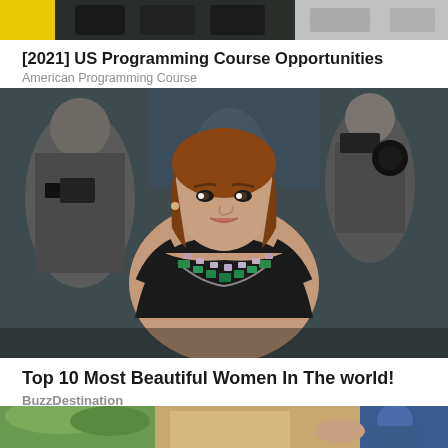[Figure (photo): Partial top image of advertisement with yellow, dark and light colored product images]
[2021] US Programming Course Opportunities
American Programming Course
[Figure (photo): Woman in black dress with green and silver necklace at a red carpet event with photographers in background]
Top 10 Most Beautiful Women In The world!
BuzzDestination
[Figure (photo): Partial image at bottom showing outdoor scene with green trees and people]